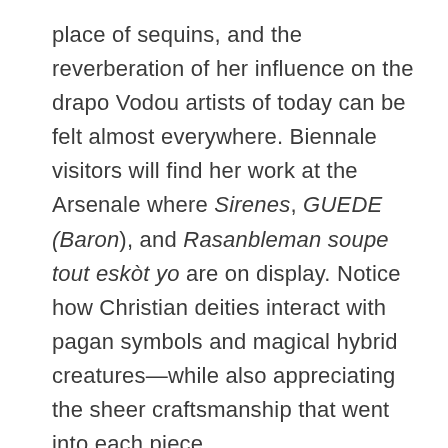place of sequins, and the reverberation of her influence on the drapo Vodou artists of today can be felt almost everywhere. Biennale visitors will find her work at the Arsenale where Sirenes, GUEDE (Baron), and Rasanbleman soupe tout eskòt yo are on display. Notice how Christian deities interact with pagan symbols and magical hybrid creatures—while also appreciating the sheer craftsmanship that went into each piece.
Seduction of the Cyborg: Play in a Dada Wonderland where the line between human and machine is just a jump rope ready to be swung. From prosthetics to experimental self-portraits this exhibition captures both the angst and